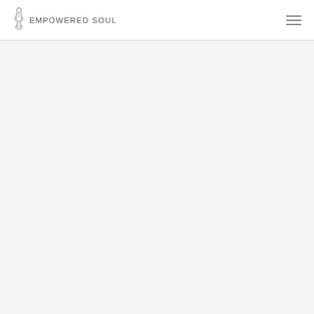Empowered Soul
[Figure (other): Empty content area with light gray background]